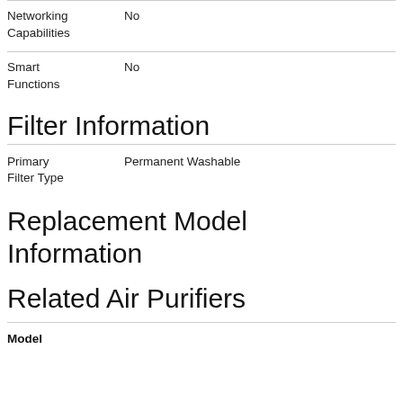| Networking Capabilities | No |
| Smart Functions | No |
Filter Information
| Primary Filter Type | Permanent Washable |
Replacement Model Information
Related Air Purifiers
| Model |
| --- |